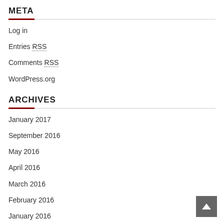META
Log in
Entries RSS
Comments RSS
WordPress.org
ARCHIVES
January 2017
September 2016
May 2016
April 2016
March 2016
February 2016
January 2016